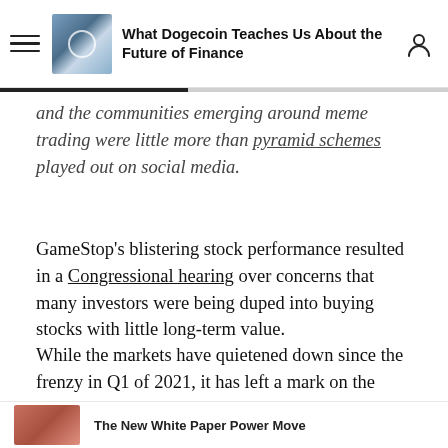What Dogecoin Teaches Us About the Future of Finance
and the communities emerging around meme trading were little more than pyramid schemes played out on social media.
GameStop’s blistering stock performance resulted in a Congressional hearing over concerns that many investors were being duped into buying stocks with little long-term value.
While the markets have quietened down since the frenzy in Q1 of 2021, it has left a mark on the financial sector that’s unlikely to go away.
[Figure (photo): Thumbnail image at bottom of page, partially visible, related to article content]